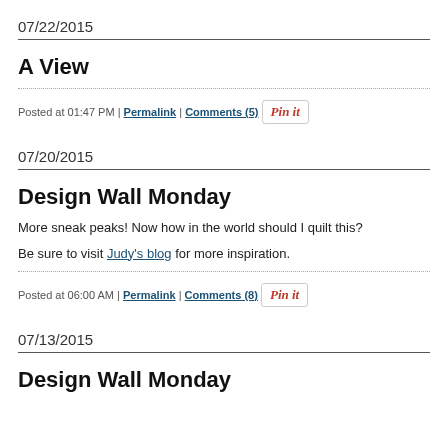07/22/2015
A View
Posted at 01:47 PM | Permalink | Comments (5)
07/20/2015
Design Wall Monday
More sneak peaks! Now how in the world should I quilt this?
Be sure to visit Judy's blog for more inspiration.
Posted at 06:00 AM | Permalink | Comments (8)
07/13/2015
Design Wall Monday